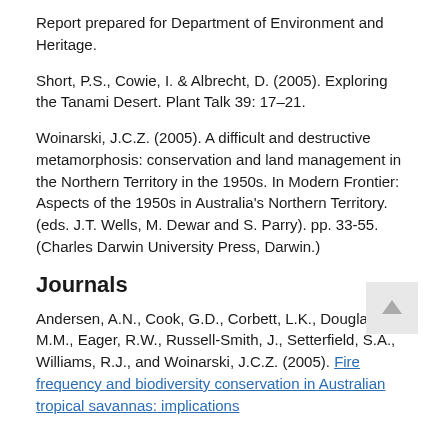Report prepared for Department of Environment and Heritage.
Short, P.S., Cowie, I. & Albrecht, D. (2005). Exploring the Tanami Desert. Plant Talk 39: 17–21.
Woinarski, J.C.Z. (2005). A difficult and destructive metamorphosis: conservation and land management in the Northern Territory in the 1950s. In Modern Frontier: Aspects of the 1950s in Australia's Northern Territory. (eds. J.T. Wells, M. Dewar and S. Parry). pp. 33-55. (Charles Darwin University Press, Darwin.)
Journals
Andersen, A.N., Cook, G.D., Corbett, L.K., Douglas, M.M., Eager, R.W., Russell-Smith, J., Setterfield, S.A., Williams, R.J., and Woinarski, J.C.Z. (2005). Fire frequency and biodiversity conservation in Australian tropical savannas: implications